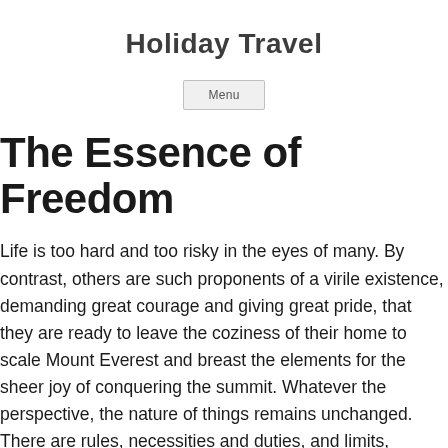Holiday Travel
Menu
The Essence of Freedom
Life is too hard and too risky in the eyes of many. By contrast, others are such proponents of a virile existence, demanding great courage and giving great pride, that they are ready to leave the coziness of their home to scale Mount Everest and breast the elements for the sheer joy of conquering the summit. Whatever the perspective, the nature of things remains unchanged. There are rules, necessities and duties, and limits, possibilities and impossibilities. Until doom, one can accept them and make the best of them, much to one's pleasure and honor, or one can do the opposite and suffer the consequences. The choice between these two options is the very essence of freedom. Personally, I have no